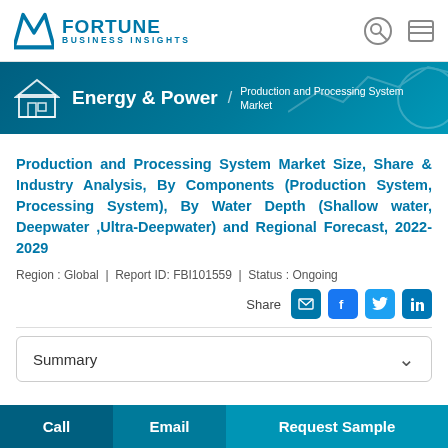Fortune Business Insights
[Figure (logo): Fortune Business Insights logo with stylized F icon and text]
[Figure (infographic): Blue banner with house icon, Energy & Power text, and Production and Processing System Market breadcrumb]
Production and Processing System Market Size, Share & Industry Analysis, By Components (Production System, Processing System), By Water Depth (Shallow water, Deepwater ,Ultra-Deepwater) and Regional Forecast, 2022-2029
Region : Global | Report ID: FBI101559 | Status : Ongoing
Share
Summary
Call | Email | Request Sample